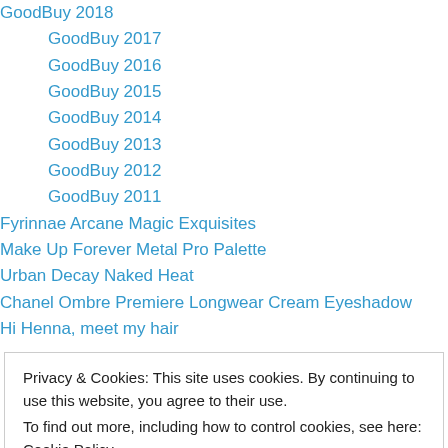GoodBuy 2018
GoodBuy 2017
GoodBuy 2016
GoodBuy 2015
GoodBuy 2014
GoodBuy 2013
GoodBuy 2012
GoodBuy 2011
Fyrinnae Arcane Magic Exquisites
Make Up Forever Metal Pro Palette
Urban Decay Naked Heat
Chanel Ombre Premiere Longwear Cream Eyeshadow
Hi Henna, meet my hair
Privacy & Cookies: This site uses cookies. By continuing to use this website, you agree to their use. To find out more, including how to control cookies, see here: Cookie Policy
Lancome L'Absolu Rouge